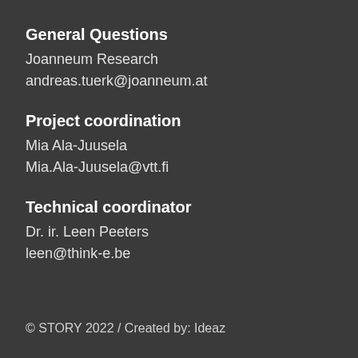General Questions
Joanneum Research
andreas.tuerk@joanneum.at
Project coordination
Mia Ala-Juusela
Mia.Ala-Juusela@vtt.fi
Technical coordinator
Dr. ir. Leen Peeters
leen@think-e.be
© STORY 2022 / Created by: Ideaz